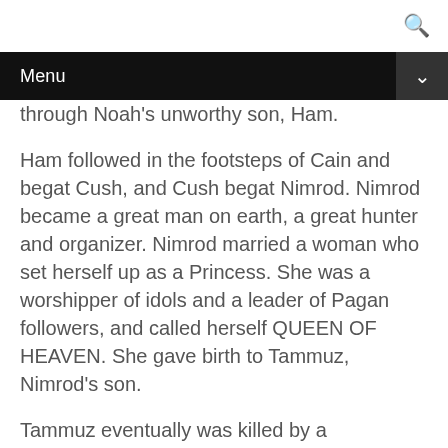Menu
through Noah's unworthy son, Ham.
Ham followed in the footsteps of Cain and begat Cush, and Cush begat Nimrod. Nimrod became a great man on earth, a great hunter and organizer. Nimrod married a woman who set herself up as a Princess. She was a worshipper of idols and a leader of Pagan followers, and called herself QUEEN OF HEAVEN. She gave birth to Tammuz, Nimrod's son.
Tammuz eventually was killed by a